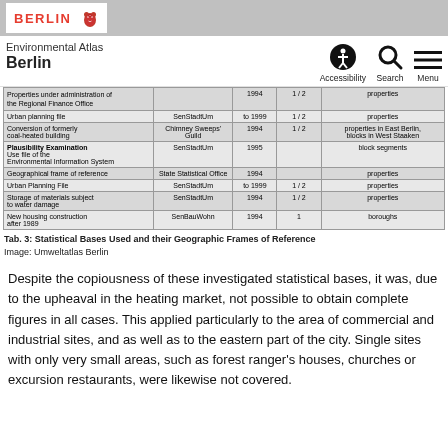BERLIN [bear icon]
Environmental Atlas Berlin
|  |  |  |  |  |
| --- | --- | --- | --- | --- |
| Properties under administration of the Regional Finance Office |  | 1994 | 1 / 2 | properties |
| Urban planning file | SenStadtUm | to 1999 | 1 / 2 | properties |
| Conversion of formerly coal-heated building | Chimney Sweeps' Guild | 1994 | 1 / 2 | properties in East Berlin, blocks in West Staaken |
| Plausibility Examination
Use file of the Environmental Information System | SenStadtUm | 1995 |  | block segments |
| Geographical frame of reference | State Statistical Office | 1994 |  | properties |
| Urban Planning File | SenStadtUm | to 1999 | 1 / 2 | properties |
| Storage of materials subject to water damage | SenStadtUm | 1994 | 1 / 2 | properties |
| New housing construction after 1989 | SenBauWohn | 1994 | 1 | boroughs |
Tab. 3: Statistical Bases Used and their Geographic Frames of Reference
Image: Umweltatlas Berlin
Despite the copiousness of these investigated statistical bases, it was, due to the upheaval in the heating market, not possible to obtain complete figures in all cases. This applied particularly to the area of commercial and industrial sites, and as well as to the eastern part of the city. Single sites with only very small areas, such as forest ranger's houses, churches or excursion restaurants, were likewise not covered.